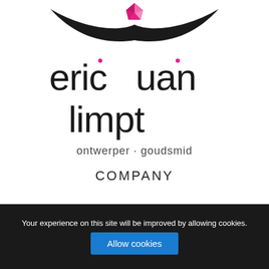[Figure (logo): Eric van Limpt logo — stylized black bowtie/wing shapes with a pink diamond gem at center top, text 'eric van limpt' in large lowercase letters below, then 'ontwerper · goudsmid' in smaller text]
COMPANY
About
Webshop
Services
Your experience on this site will be improved by allowing cookies.
Allow cookies